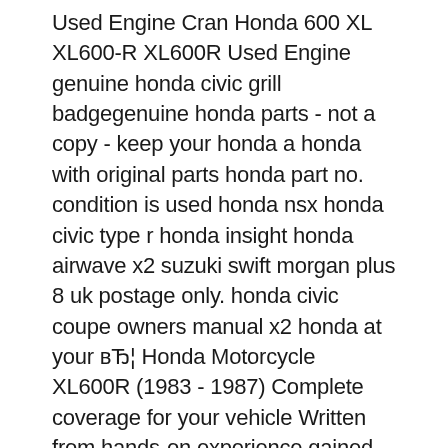Used Engine Cran Honda 600 XL XL600-R XL600R Used Engine genuine honda civic grill badgegenuine honda parts - not a copy - keep your honda a honda with original parts honda part no. condition is used honda nsx honda civic type r honda insight honda airwave x2 suzuki swift morgan plus 8 uk postage only. honda civic coupe owners manual x2 honda at your вЂ¦ Honda Motorcycle XL600R (1983 - 1987) Complete coverage for your vehicle Written from hands-on experience gained from the complete strip-down and rebuild of a Honda Motorcycle XL600R, Haynes can help you understand, care for and repair your Honda Motorcycle XL600R.